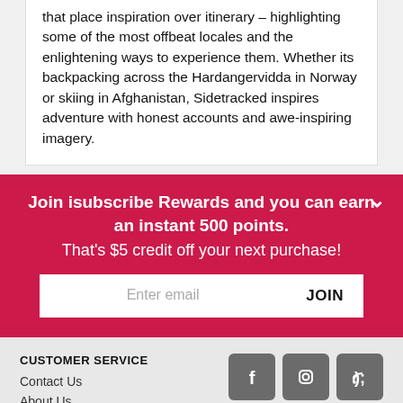that place inspiration over itinerary – highlighting some of the most offbeat locales and the enlightening ways to experience them. Whether its backpacking across the Hardangervidda in Norway or skiing in Afghanistan, Sidetracked inspires adventure with honest accounts and awe-inspiring imagery.
Join isubscribe Rewards and you can earn an instant 500 points. That's $5 credit off your next purchase!
CUSTOMER SERVICE
Contact Us
About Us
My Account
Delivery
FAQs
Privacy
Security
isubscribe AU
isubscribe UK
isubscribe Group